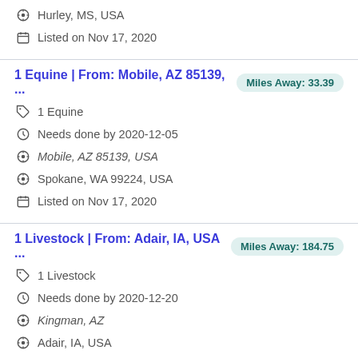Hurley, MS, USA
Listed on Nov 17, 2020
1 Equine | From: Mobile, AZ 85139, ... Miles Away: 33.39
1 Equine
Needs done by 2020-12-05
Mobile, AZ 85139, USA
Spokane, WA 99224, USA
Listed on Nov 17, 2020
1 Livestock | From: Adair, IA, USA ... Miles Away: 184.75
1 Livestock
Needs done by 2020-12-20
Kingman, AZ
Adair, IA, USA